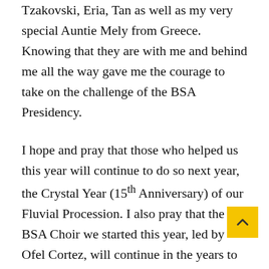Tzakovski, Eria, Tan as well as my very special Auntie Mely from Greece. Knowing that they are with me and behind me all the way gave me the courage to take on the challenge of the BSA Presidency.
I hope and pray that those who helped us this year will continue to do so next year, the Crystal Year (15th Anniversary) of our Fluvial Procession. I also pray that the BSA Choir we started this year, led by Ofel Cortez, will continue in the years to come.
As a mother, I am blessed to have Our Lady of